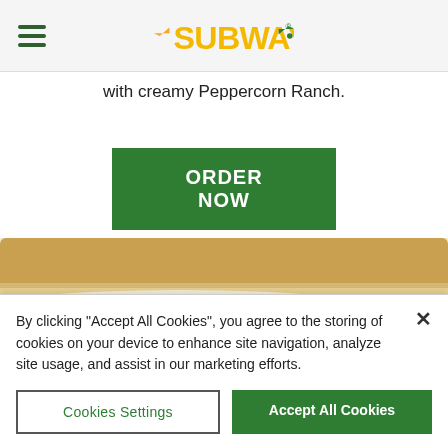SUBWAY
with creamy Peppercorn Ranch.
ORDER NOW
[Figure (photo): Close-up photo of a Subway sandwich showing sliced deli meat and cheese on a sub roll]
By clicking “Accept All Cookies”, you agree to the storing of cookies on your device to enhance site navigation, analyze site usage, and assist in our marketing efforts.
Cookies Settings
Accept All Cookies